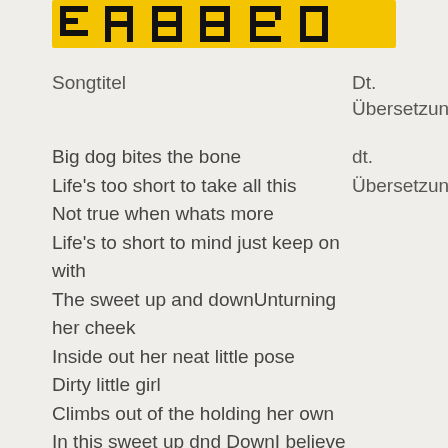[Figure (other): Yellow decorative header banner with bold black letters/shapes on yellow background]
| Songtitel | Dt. Übersetzung |
| --- | --- |
| Big dog bites the bone
Life's too short to take all this
Not true when whats more
Life's to short to mind just keep on with
The sweet up and downUnturning her cheek
Inside out her neat little pose
Dirty little girl
Climbs out of the holding her own
In this sweet up dnd DownI believe in love
But believe it's my heart that keeps turning me down | dt. Übersetzung. |